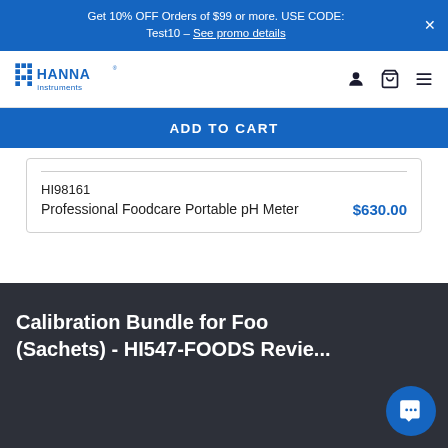Get 10% OFF Orders of $99 or more. USE CODE: Test10 – See promo details
[Figure (logo): Hanna Instruments logo with navigation icons (user, cart, menu)]
ADD TO CART
| HI98161 |  |
| Professional Foodcare Portable pH Meter | $630.00 |
Calibration Bundle for Foo (Sachets) - HI547-FOODS Revie...